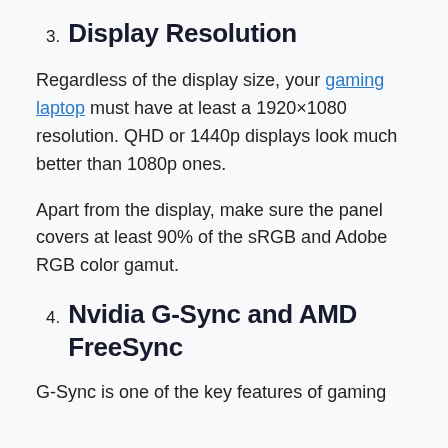3. Display Resolution
Regardless of the display size, your gaming laptop must have at least a 1920×1080 resolution. QHD or 1440p displays look much better than 1080p ones.
Apart from the display, make sure the panel covers at least 90% of the sRGB and Adobe RGB color gamut.
4. Nvidia G-Sync and AMD FreeSync
G-Sync is one of the key features of gaming